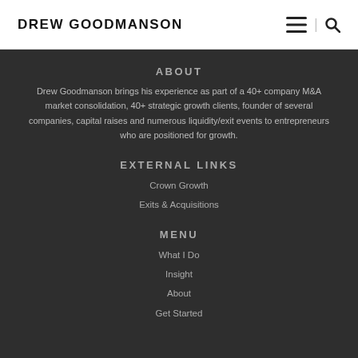DREW GOODMANSON
ABOUT
Drew Goodmanson brings his experience as part of a 40+ company M&A market consolidation, 40+ strategic growth clients, founder of several companies, capital raises and numerous liquidity/exit events to entrepreneurs who are positioned for growth.
EXTERNAL LINKS
Crown Growth
Exits & Acquisitions
MENU
What I Do
Insight
About
Get Started